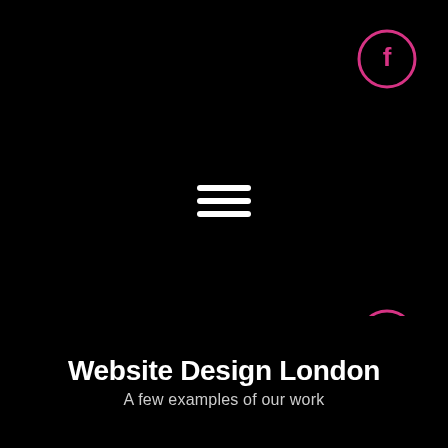[Figure (screenshot): Website design screenshot showing a dark themed web page with hamburger menu icon, Facebook circle icon and email circle icon in pink/magenta, a device mockup with white screen area, and diagonal gray/white decorative shapes]
Website Design London
A few examples of our work